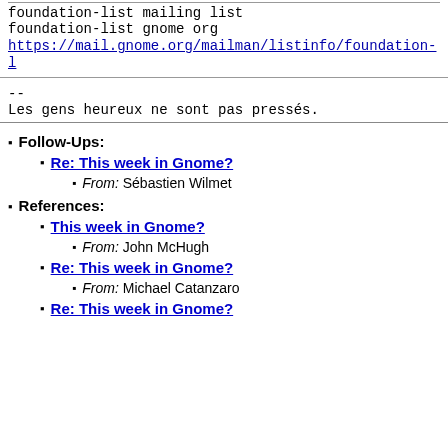foundation-list mailing list
foundation-list gnome org
https://mail.gnome.org/mailman/listinfo/foundation-l
--
Les gens heureux ne sont pas pressés.
Follow-Ups:
Re: This week in Gnome?
From: Sébastien Wilmet
References:
This week in Gnome?
From: John McHugh
Re: This week in Gnome?
From: Michael Catanzaro
Re: This week in Gnome?